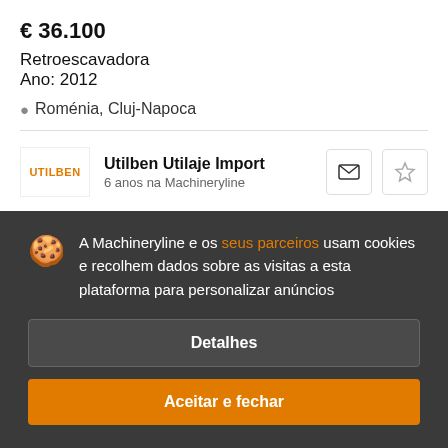€ 36.100
Retroescavadora
Ano: 2012
Roménia, Cluj-Napoca
Utilben Utilaje Import
6 anos na Machineryline
A Machineryline e os seus parceiros usam cookies e recolhem dados sobre as visitas a esta plataforma para personalizar anúncios
Detalhes
Aceitar e fechar
HIDROMEK HMK 310 LC-5 * LEVERANSKLAR *